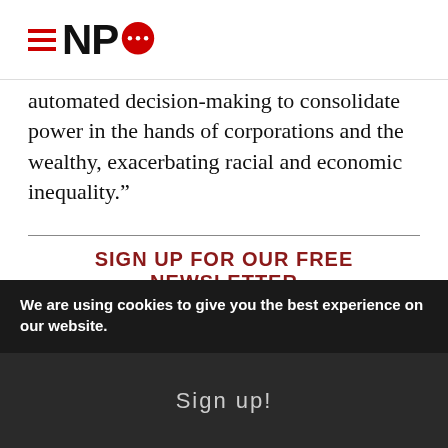NPQ logo with hamburger menu icon and speech bubble
automated decision-making to consolidate power in the hands of corporations and the wealthy, exacerbating racial and economic inequality.”
SIGN UP FOR OUR FREE NEWSLETTER
Subscribe to the NPQ newsletter to have our top stories delivered directly to your inbox.
We are using cookies to give you the best experience on our website.
Sign up!